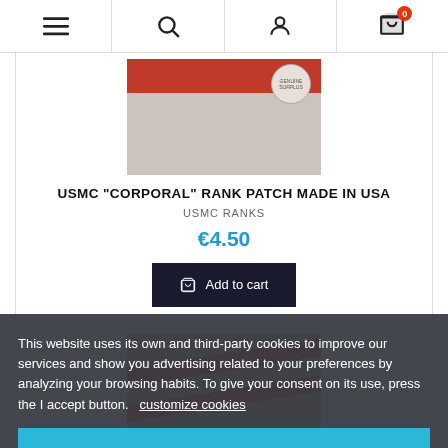Navigation bar with menu, search, account, and cart icons
[Figure (photo): Product photo of USMC Corporal rank patch on grey fabric background with red arc and circular brand label]
USMC "CORPORAL" RANK PATCH MADE IN USA
USMC RANKS
€4.50
Add to cart
[Figure (photo): Partial product photo of another USMC rank patch with red diagonal stripes on grey background]
This website uses its own and third-party cookies to improve our services and show you advertising related to your preferences by analyzing your browsing habits. To give your consent on its use, press the I accept button. customize cookies